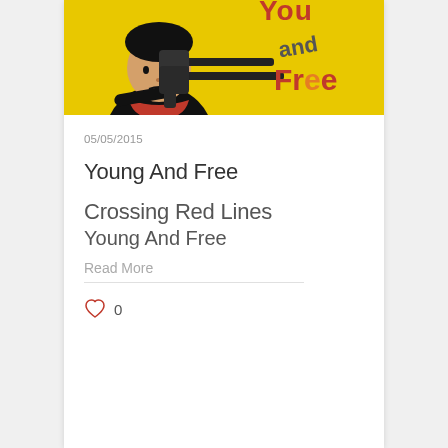[Figure (illustration): Yellow background illustration showing a cartoon boy with dark hair and a red scarf holding guns, with text 'You', 'and', 'Free' in red/orange lettering]
05/05/2015
Young And Free
Crossing Red Lines
Young And Free
Read More
0